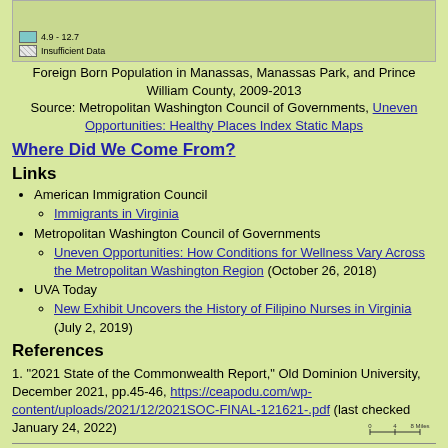[Figure (map): Partial map strip showing legend entries: teal color swatch labeled '4.9 - 12.7' and hatched swatch labeled 'Insufficient Data', with scale bar showing 0-4-8 Miles]
Foreign Born Population in Manassas, Manassas Park, and Prince William County, 2009-2013
Source: Metropolitan Washington Council of Governments, Uneven Opportunities: Healthy Places Index Static Maps
Where Did We Come From?
Links
American Immigration Council
Immigrants in Virginia
Metropolitan Washington Council of Governments
Uneven Opportunities: How Conditions for Wellness Vary Across the Metropolitan Washington Region (October 26, 2018)
UVA Today
New Exhibit Uncovers the History of Filipino Nurses in Virginia (July 2, 2019)
References
1. "2021 State of the Commonwealth Report," Old Dominion University, December 2021, pp.45-46, https://ceapodu.com/wp-content/uploads/2021/12/2021SOC-FINAL-121621-.pdf (last checked January 24, 2022)